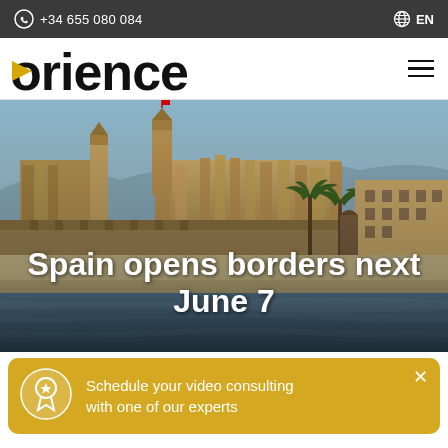+34 655 080 084  EN
orience
[Figure (photo): Aerial/waterfront view of a historic European city (Palma de Mallorca), featuring a large Gothic cathedral, medieval walls, palm trees, and a calm waterway in the foreground.]
Spain opens borders next June 7
Schedule your video consulting with one of our experts